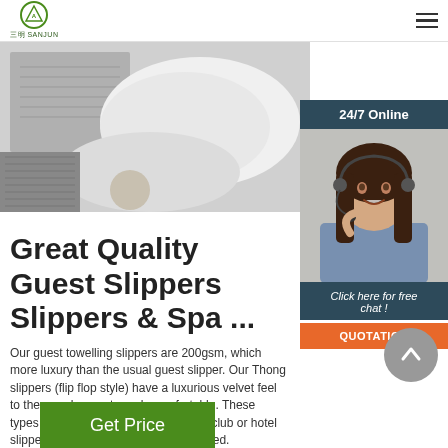三明 SANJUN — navigation logo and hamburger menu
[Figure (photo): Black and white photo of hotel slippers and towel]
[Figure (photo): 24/7 Online customer service representative with headset, smiling]
Great Quality Guest Slippers Slippers & Spa ...
Our guest towelling slippers are 200gsm, which more luxury than the usual guest slipper. Our Thong slippers (flip flop style) have a luxurious velvet feel to them and are extremely comfortable. These types of slipper makes an spa, health club or hotel slipper, where a little pampering required.
Click here for free chat !
QUOTATION
Get Price